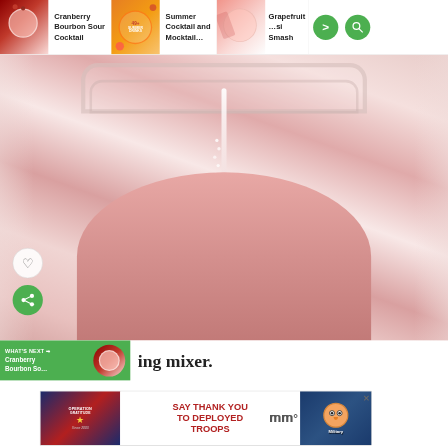[Figure (screenshot): Website navigation bar showing three recipe cards: 'Cranberry Bourbon Sour Cocktail', 'Summer Cocktail and Mocktail...', and 'Grapefruit... Smash' with navigation arrow and search icon]
[Figure (photo): Close-up photo of liquid being poured into a pink/rose colored drink in a mason jar glass, showing bubbles and the stream of liquid]
ing mixer.
[Figure (screenshot): Advertisement banner for Operation Gratitude: 'SAY THANK YOU TO DEPLOYED TROOPS' with patriotic imagery and an owl mascot]